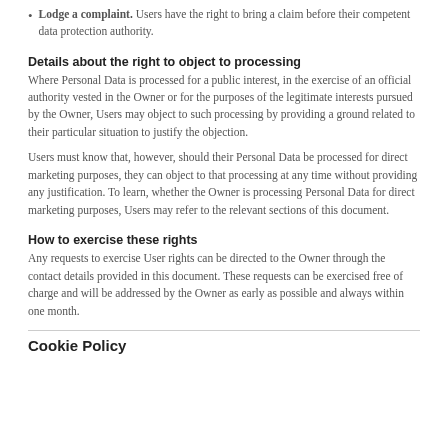Lodge a complaint. Users have the right to bring a claim before their competent data protection authority.
Details about the right to object to processing
Where Personal Data is processed for a public interest, in the exercise of an official authority vested in the Owner or for the purposes of the legitimate interests pursued by the Owner, Users may object to such processing by providing a ground related to their particular situation to justify the objection.
Users must know that, however, should their Personal Data be processed for direct marketing purposes, they can object to that processing at any time without providing any justification. To learn, whether the Owner is processing Personal Data for direct marketing purposes, Users may refer to the relevant sections of this document.
How to exercise these rights
Any requests to exercise User rights can be directed to the Owner through the contact details provided in this document. These requests can be exercised free of charge and will be addressed by the Owner as early as possible and always within one month.
Cookie Policy